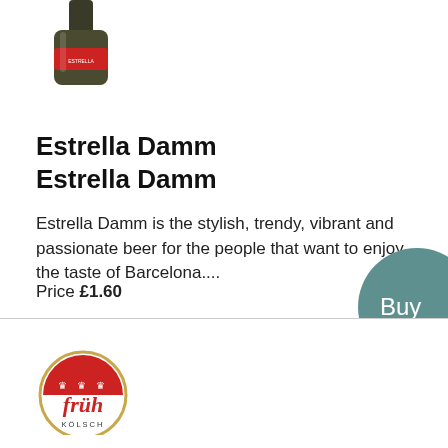[Figure (photo): Partial view of a beer bottle (Estrella Damm) cropped at top]
Estrella Damm
Estrella Damm
Estrella Damm is the stylish, trendy, vibrant and passionate beer for the people that want to enjoy the taste of Barcelona....
Price £1.60
[Figure (illustration): Circular teal/green Buy button partially visible at right edge]
[Figure (logo): Früh Kölsch beer logo — circular badge with red top arc, stylized 'früh' text in red italic, and 'KÖLSCH' text below]